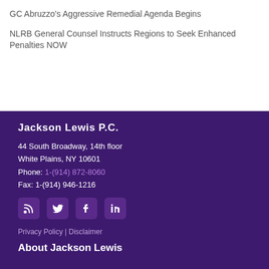GC Abruzzo's Aggressive Remedial Agenda Begins
NLRB General Counsel Instructs Regions to Seek Enhanced Penalties NOW
Jackson Lewis P.C.
44 South Broadway, 14th floor
White Plains, NY 10601
Phone: 1-(914) 872-8060
Fax: 1-(914) 946-1216
[Figure (infographic): Social media icons: RSS, Twitter, Facebook, LinkedIn]
Privacy Policy | Disclaimer
About Jackson Lewis